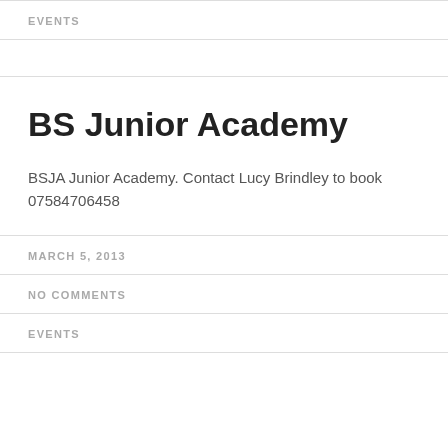EVENTS
BS Junior Academy
BSJA Junior Academy. Contact Lucy Brindley to book 07584706458
MARCH 5, 2013
NO COMMENTS
EVENTS